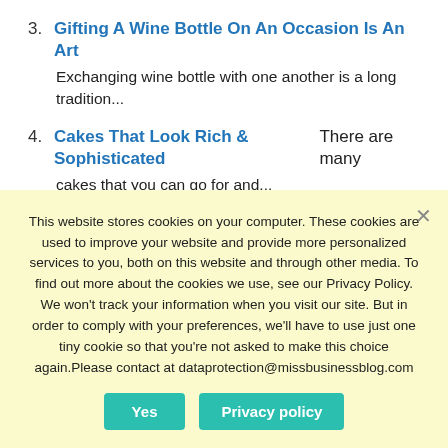3. Gifting A Wine Bottle On An Occasion Is An Art — Exchanging wine bottle with one another is a long tradition...
4. Cakes That Look Rich & Sophisticated There are many cakes that you can go for and...
This website stores cookies on your computer. These cookies are used to improve your website and provide more personalized services to you, both on this website and through other media. To find out more about the cookies we use, see our Privacy Policy. We won't track your information when you visit our site. But in order to comply with your preferences, we'll have to use just one tiny cookie so that you're not asked to make this choice again.Please contact at dataprotection@missbusinessblog.com
Yes | Privacy policy